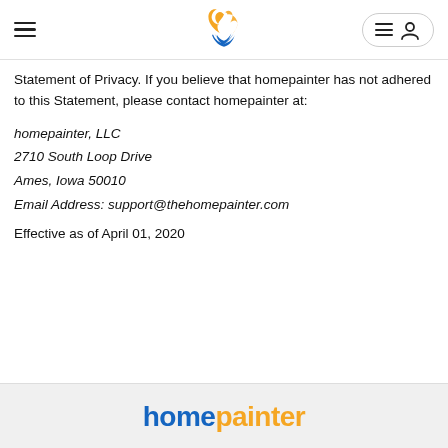homepainter logo and navigation header
Statement of Privacy. If you believe that homepainter has not adhered to this Statement, please contact homepainter at:
homepainter, LLC
2710 South Loop Drive
Ames, Iowa 50010
Email Address: support@thehomepainter.com
Effective as of April 01, 2020
[Figure (logo): homepainter brand logo in blue and orange text at page footer]